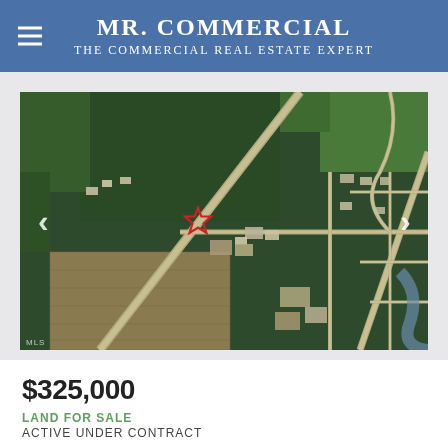Mr. Commercial — The Commercial Real Estate Expert
[Figure (map): Aerial satellite map view of a commercial land parcel with a red star marker indicating the property location. Road intersections, wooded areas, agricultural fields, and surrounding residential/commercial development visible. Navigation arrows on left and right sides.]
$325,000
LAND FOR SALE
ACTIVE UNDER CONTRACT